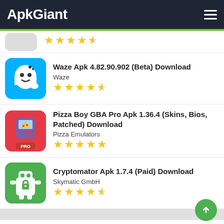ApkGiant
Waze Apk 4.82.90.902 (Beta) Download | Waze | 4.5 stars
Pizza Boy GBA Pro Apk 1.36.4 (Skins, Bios, Patched) Download | Pizza Emulators | 5 stars
Cryptomator Apk 1.7.4 (Paid) Download | Skymatic GmbH | 4 stars
CATEGORIES